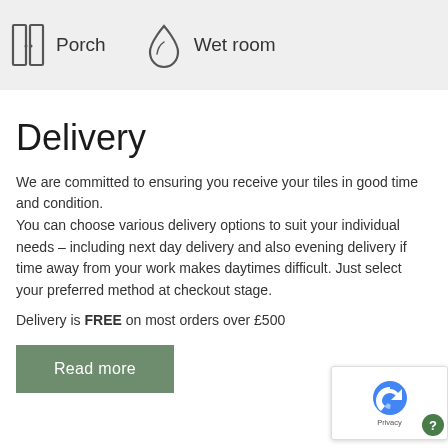[Figure (illustration): Icon of a door/porch (two rectangles) with label 'Porch' beside it, and an icon of a water drop with label 'Wet room' beside it, on a light grey background.]
Delivery
We are committed to ensuring you receive your tiles in good time and condition.
You can choose various delivery options to suit your individual needs – including next day delivery and also evening delivery if time away from your work makes daytimes difficult. Just select your preferred method at checkout stage.
Delivery is FREE on most orders over £500
Read more